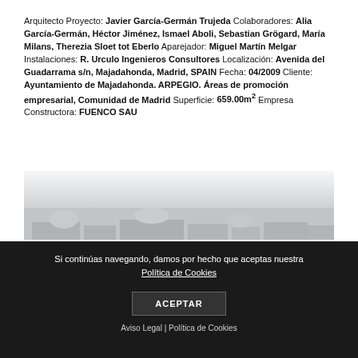Arquitecto Proyecto: Javier García-Germán Trujeda Colaboradores: Alia García-Germán, Héctor Jiménez, Ismael Aboli, Sebastian Grögard, María Milans, Therezia Sloet tot Eberlo Aparejador: Miguel Martín Melgar Instalaciones: R. Urculo Ingenieros Consultores Localización: Avenida del Guadarrama s/n, Majadahonda, Madrid, SPAIN Fecha: 04/2009 Cliente: Ayuntamiento de Majadahonda. ARPEGIO. Áreas de promoción empresarial, Comunidad de Madrid Superficie: 659.00m² Empresa Constructora: FUENCO SAU
[Figure (photo): Exterior photo of building in misty/wintry landscape, low contrast grayscale image]
Si continúas navegando, damos por hecho que aceptas nuestra Política de Cookies
ACEPTAR
Aviso Legal | Política de Cookies